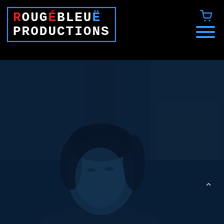[Figure (logo): RougeBleuë Productions logo: text in digital/monospace style inside a blue rectangle border. 'ROUGE' with R in red and rest in white, 'BLEUE' with accented E in blue, 'PRODUCTIONS' in white below.]
[Figure (photo): Dark blue-tinted photo of a woman with short dark hair looking slightly upward, in a moody, cinematic setting with stone/brick wall texture behind her.]